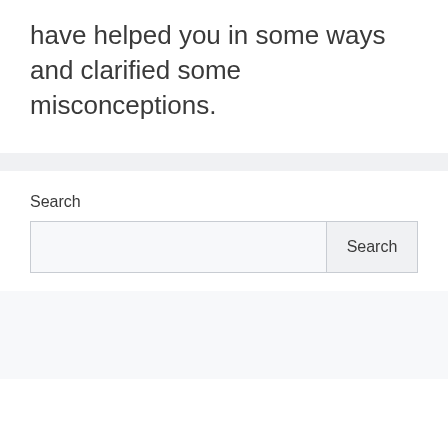have helped you in some ways and clarified some misconceptions.
Search
[Figure (screenshot): Search box with an empty text input field and a Search button]